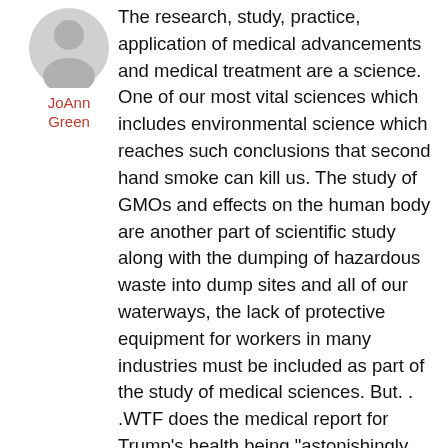[Figure (illustration): Circular avatar/profile image placeholder showing a generic person silhouette in gray tones]
JoAnn Green
The research, study, practice, application of medical advancements and medical treatment are a science. One of our most vital sciences which includes environmental science which reaches such conclusions that second hand smoke can kill us. The study of GMOs and effects on the human body are another part of scientific study along with the dumping of hazardous waste into dump sites and all of our waterways, the lack of protective equipment for workers in many industries must be included as part of the study of medical sciences. But. . .WTF does the medical report for Trump’s health being “astonishingly excellent” have to do with medicine or his ability to serve as president? His doctor has commented he meant that jokingly; making jokes about electing the president of the United States cannot be